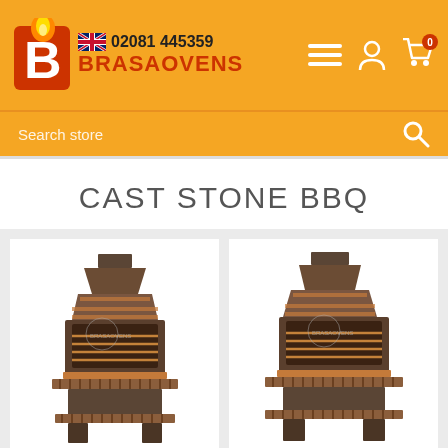02081 445359 BRASAOVENS
Search store
CAST STONE BBQ
[Figure (photo): Cast Stone BBQ DIY 201 - stone barbecue with chimney hood, grill rack, and wooden shelves]
[Figure (photo): Cast Stone BBQ DIY 202 - stone barbecue with chimney hood, grill rack, and wooden shelves, slightly wider design]
Cast Stone BBQ DIY 201
Cast Stone BBQ DIY 202